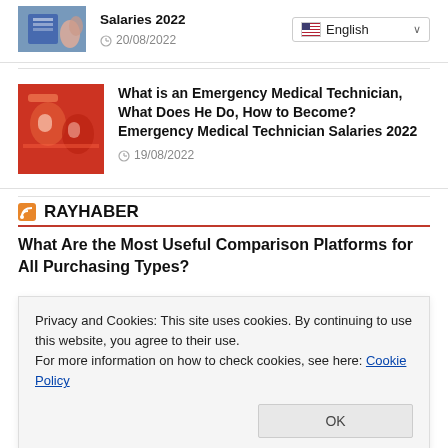[Figure (photo): Partially visible thumbnail of a hand near blue binders]
Salaries 2022
20/08/2022
English (language selector dropdown)
[Figure (photo): Emergency medical technicians in red suits]
What is an Emergency Medical Technician, What Does He Do, How to Become? Emergency Medical Technician Salaries 2022
19/08/2022
RAYHABER
What Are the Most Useful Comparison Platforms for All Purchasing Types?
Privacy and Cookies: This site uses cookies. By continuing to use this website, you agree to their use.
For more information on how to check cookies, see here: Cookie Policy
OK
Today in History: West Germany and East Germany